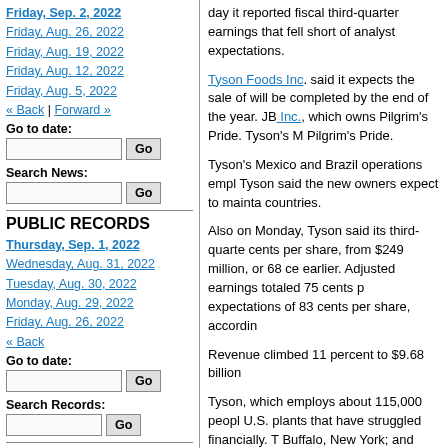Friday, Sep. 2, 2022
Friday, Aug. 26, 2022
Friday, Aug. 19, 2022
Friday, Aug. 12, 2022
Friday, Aug. 5, 2022
« Back | Forward »
Go to date:
Search News:
PUBLIC RECORDS
Thursday, Sep. 1, 2022
Wednesday, Aug. 31, 2022
Tuesday, Aug. 30, 2022
Monday, Aug. 29, 2022
Friday, Aug. 26, 2022
« Back
Go to date:
Search Records:
PUBLIC NOTICES
Friday, Sep. 2, 2022
day it reported fiscal third-quarter earnings that fell short of analyst expectations.
Tyson Foods Inc. said it expects the sale of will be completed by the end of the year. JBS Inc., which owns Pilgrim's Pride. Tyson's M Pilgrim's Pride.
Tyson's Mexico and Brazil operations empl Tyson said the new owners expect to mainta countries.
Also on Monday, Tyson said its third-quarte cents per share, from $249 million, or 68 ce earlier. Adjusted earnings totaled 75 cents p expectations of 83 cents per share, accordin
Revenue climbed 11 percent to $9.68 billion
Tyson, which employs about 115,000 peopl U.S. plants that have struggled financially. Buffalo, New York; and Santa Teresa, New
The company said the action will enable it t equipment at the plants to other, more cost-